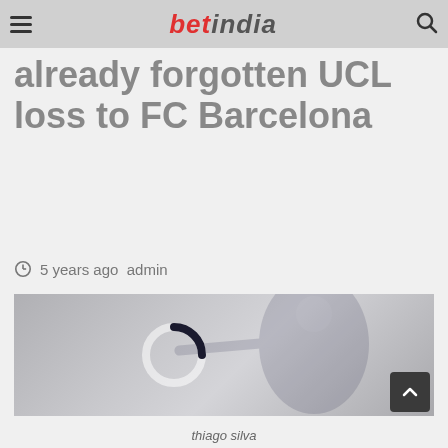BetIndia
already forgotten UCL loss to FC Barcelona
5 years ago  admin
[Figure (photo): Photo of a PSG player (Thiago Silva) in dark blue Fly Emirates kit, pointing with one arm extended, with a loading spinner overlay visible on the image]
thiago silva